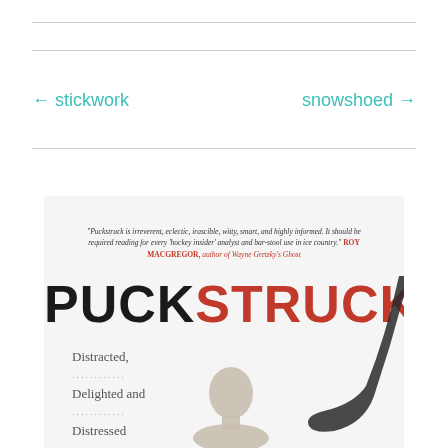← stickwork
snowshoed →
[Figure (illustration): Book cover of 'Puckstruck' showing the title in large black and red serif fonts, a blurb quote from Roy MacGregor, subtitle text 'Distracted, Delighted and Distressed by Canada's', a hockey stick, and a person's head silhouette on a light gray background.]